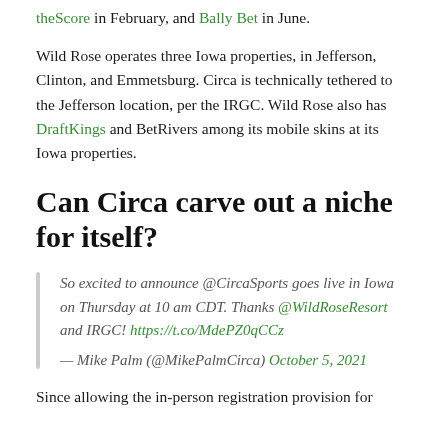theScore in February, and Bally Bet in June.
Wild Rose operates three Iowa properties, in Jefferson, Clinton, and Emmetsburg. Circa is technically tethered to the Jefferson location, per the IRGC. Wild Rose also has DraftKings and BetRivers among its mobile skins at its Iowa properties.
Can Circa carve out a niche for itself?
So excited to announce @CircaSports goes live in Iowa on Thursday at 10 am CDT. Thanks @WildRoseResort and IRGC! https://t.co/MdePZ0qCCz
— Mike Palm (@MikePalmCirca) October 5, 2021
Since allowing the in-person registration provision for